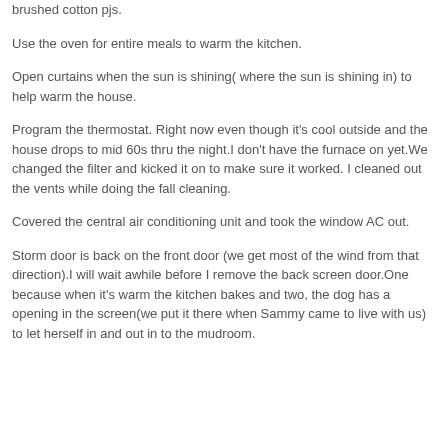brushed cotton pjs.
Use the oven for entire meals to warm the kitchen.
Open curtains when the sun is shining( where the sun is shining in) to help warm the house.
Program the thermostat. Right now even though it's cool outside and the house drops to mid 60s thru the night.I don't have the furnace on yet.We changed the filter and kicked it on to make sure it worked. I cleaned out the vents while doing the fall cleaning.
Covered the central air conditioning unit and took the window AC out.
Storm door is back on the front door (we get most of the wind from that direction).I will wait awhile before I remove the back screen door.One because when it's warm the kitchen bakes and two, the dog has a opening in the screen(we put it there when Sammy came to live with us) to let herself in and out in to the mudroom.